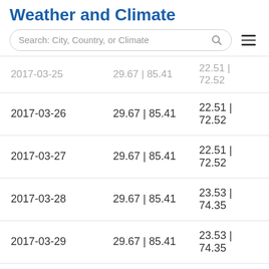Weather and Climate
| 2017-03-25 | 29.67 | 85.41 | 22.51 | 72.52 |
| 2017-03-26 | 29.67 | 85.41 | 22.51 | 72.52 |
| 2017-03-27 | 29.67 | 85.41 | 22.51 | 72.52 |
| 2017-03-28 | 29.67 | 85.41 | 23.53 | 74.35 |
| 2017-03-29 | 29.67 | 85.41 | 23.53 | 74.35 |
| 2017-03-30 | 29.67 | 85.41 | 22.51 | 72.52 |
| 2017-03-31 | 29.67 | 85.41 | 23.53 | 74.35 |